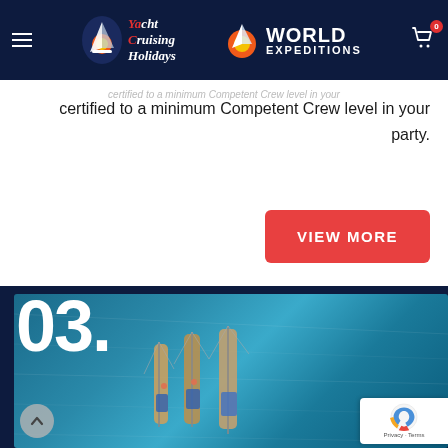Yacht Cruising Holidays | World Expeditions
certified to a minimum Competent Crew level in your party.
VIEW MORE
[Figure (photo): Aerial view of yachts moored together on blue water, with large white number '03.' overlaid on the left side]